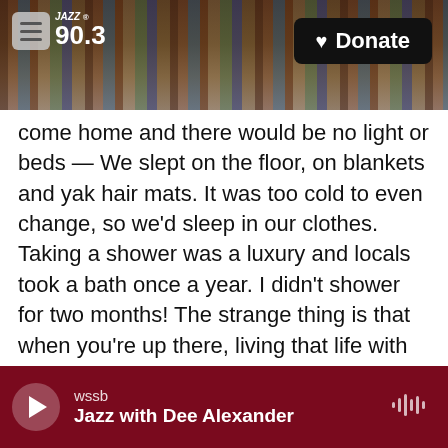[Figure (screenshot): Website header bar with bookshelf background image, JAZZ 90.3 logo on left, Donate button on right]
come home and there would be no light or beds — We slept on the floor, on blankets and yak hair mats. It was too cold to even change, so we'd sleep in our clothes. Taking a shower was a luxury and locals took a bath once a year. I didn't shower for two months! The strange thing is that when you're up there, living that life with the highlanders and the yaks, you don't miss it. I felt very clean.
And then on top of that, you made this film carbon negative, right? What did that require?
We had a good production team who researched
wssb
Jazz with Dee Alexander